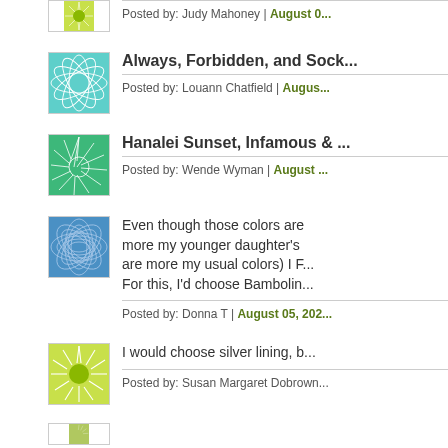[Figure (illustration): Green sunburst avatar icon, partially cropped at top]
Posted by: Judy Mahoney | August 0...
[Figure (illustration): Teal/cyan leaf/feather spiral pattern avatar]
Always, Forbidden, and Sock...
Posted by: Louann Chatfield | Augus...
[Figure (illustration): Green spiral/pinwheel pattern avatar]
Hanalei Sunset, Infamous & ...
Posted by: Wende Wyman | August ...
[Figure (illustration): Blue grid/net pattern avatar]
Even though those colors are more my younger daughter's are more my usual colors) I F... For this, I'd choose Bambolin...
Posted by: Donna T | August 05, 202...
[Figure (illustration): Green sunburst with olive center avatar]
I would choose silver lining, b...
Posted by: Susan Margaret Dobrown...
[Figure (illustration): Small partial avatar at bottom, partially cropped]